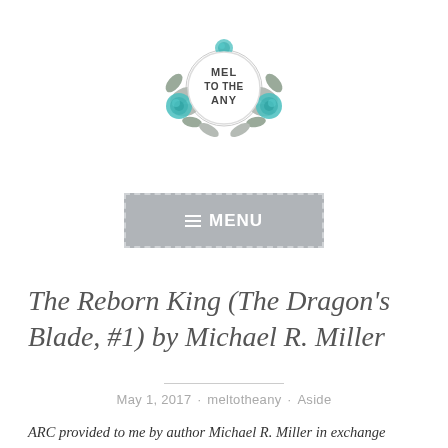[Figure (logo): Circular logo with floral decoration and teal roses, reading MEL TO THE ANY in the center circle]
[Figure (screenshot): Gray menu button with dashed border, hamburger icon and MENU text in white]
The Reborn King (The Dragon’s Blade, #1) by Michael R. Miller
May 1, 2017 · meltotheany · Aside
ARC provided to me by author Michael R. Miller in exchange